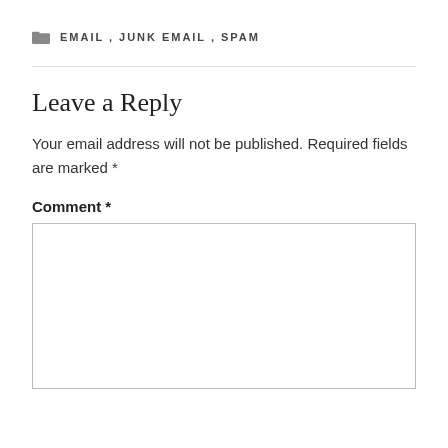EMAIL, JUNK EMAIL, SPAM
Leave a Reply
Your email address will not be published. Required fields are marked *
Comment *